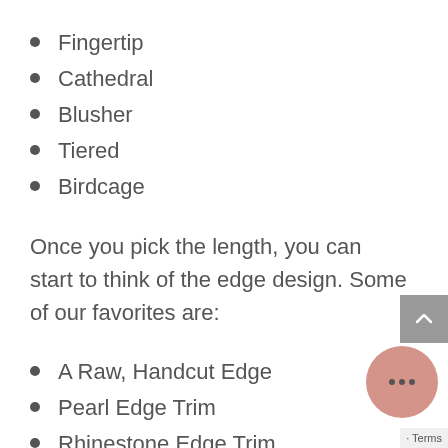Fingertip
Cathedral
Blusher
Tiered
Birdcage
Once you pick the length, you can start to think of the edge design. Some of our favorites are:
A Raw, Handcut Edge
Pearl Edge Trim
Rhinestone Edge Trim